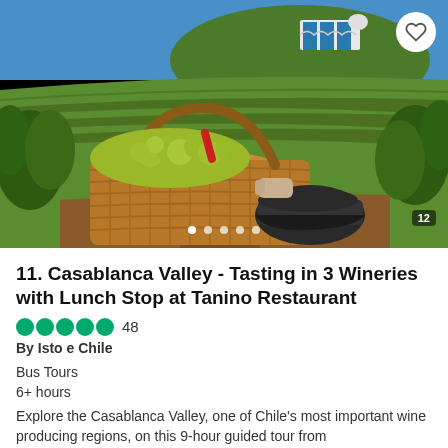[Figure (photo): Photograph of a vineyard in Casablanca Valley, Chile. A wicker basket overflowing with harvested green grapes sits in the foreground, held by a person wearing a dark cap. In the background, terraced vineyard rows climb green hills under a bright blue sky, with a white building visible at the top of the hill.]
11. Casablanca Valley - Tasting in 3 Wineries with Lunch Stop at Tanino Restaurant
●●●●● 48
By Isto e Chile
Bus Tours
6+ hours
Explore the Casablanca Valley, one of Chile's most important wine producing regions, on this 9-hour guided tour from